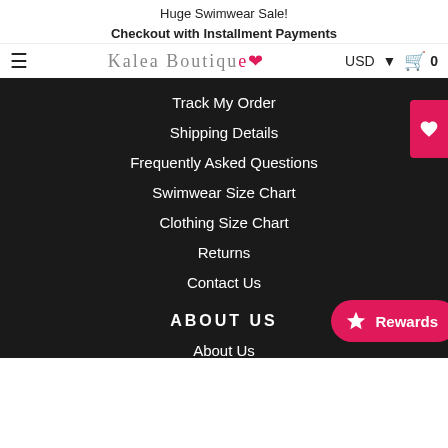Huge Swimwear Sale!
Checkout with Installment Payments
[Figure (logo): Kalea Boutique logo with hamburger menu, USD currency selector, and cart icon]
Track My Order
Shipping Details
Frequently Asked Questions
Swimwear Size Chart
Clothing Size Chart
Returns
Contact Us
ABOUT US
About Us
Product Reviews
Terms & Conditions
Privacy & Security
Search
Terms of Service